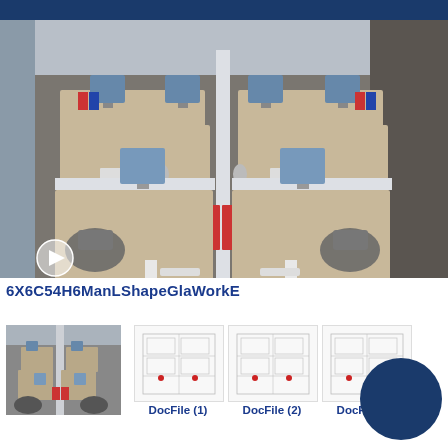[Figure (photo): Overhead/perspective view of an open-plan office workstation cluster with 6 L-shaped desks arranged symmetrically, white privacy screens, monitors, chairs, and red/blue binders]
6X6C54H6ManLShapeGlaWorkE
[Figure (photo): Small thumbnail photo of the same office workstation cluster from a slightly different angle]
[Figure (other): DocFile (1) — thumbnail of a technical/floor plan document]
[Figure (other): DocFile (2) — thumbnail of a technical/floor plan document]
[Figure (other): DocFile (3) — thumbnail partially obscured by blue circle]